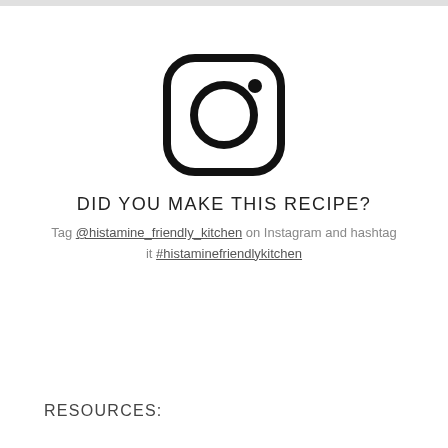[Figure (logo): Instagram logo icon — rounded square outline with a circle inside and a small dot in upper right]
DID YOU MAKE THIS RECIPE?
Tag @histamine_friendly_kitchen on Instagram and hashtag it #histaminefriendlykitchen
RESOURCES: